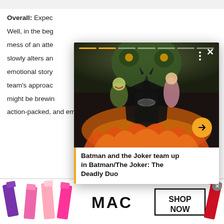Overall: Expec... Well, in the beg... mess of an atte... slowly alters an... emotional story... team's approac... might be brewin... action-packed, and emotional issue that hits all of the
[Figure (screenshot): Popup card showing Batman and Joker comic book artwork with orange arrow button, three-dot menu, close X button, progress bar segments, and caption text 'Batman and the Joker team up in Batman/The Joker: The Deadly Duo']
Batman and the Joker team up in Batman/The Joker: The Deadly Duo
[Figure (photo): MAC Cosmetics advertisement banner showing multiple lipsticks in purple, pink, and red, MAC logo, and 'SHOP NOW' button]